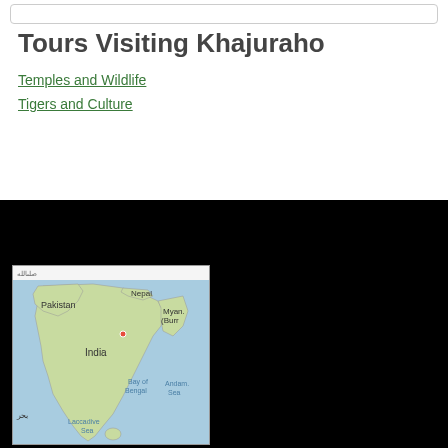Tours Visiting Khajuraho
Temples and Wildlife
Tigers and Culture
[Figure (map): Map of the Indian subcontinent showing Pakistan, India, Nepal, Myanmar (Burma), Bay of Bengal, Andaman Sea, Laccadive Sea, and surrounding regions.]